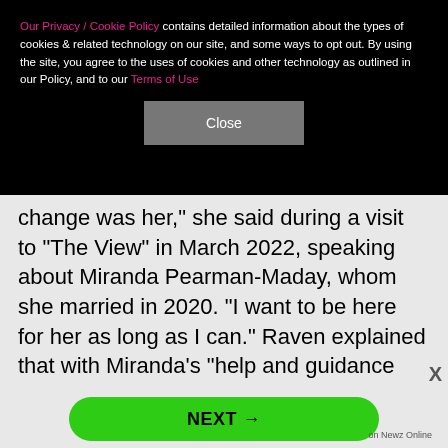Our Privacy / Cookie Policy contains detailed information about the types of cookies & related technology on our site, and some ways to opt out. By using the site, you agree to the uses of cookies and other technology as outlined in our Policy, and to our Terms of Use
Close
change was her," she said during a visit to "The View" in March 2022, speaking about Miranda Pearman-Maday, whom she married in 2020. "I want to be here for her as long as I can." Raven explained that with Miranda's "help and guidance and love and fantastic cooking skills, she helped me kick sugar. I say kick sugar because it is an addictive drug. I was addicted to it in wheat form, in regular form, and it's out of my system." Raven joked that her food vice was "a fish filet with ar
NEXT →
on Newz Online